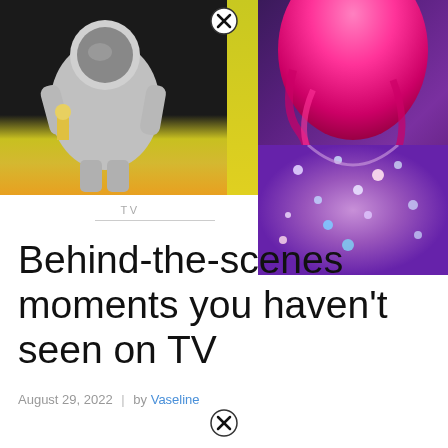[Figure (photo): Two-panel image: left panel shows a silver astronaut figure holding an award against a dark background with orange/yellow tones (MTV style); right panel shows a person with bright pink hair wearing a sparkling jeweled outfit, holding a microphone, on a purple-toned background. A close button (X in circle) appears at the top center of the image.]
TV
Behind-the-scenes moments you haven't seen on TV
August 29, 2022  |  by Vaseline